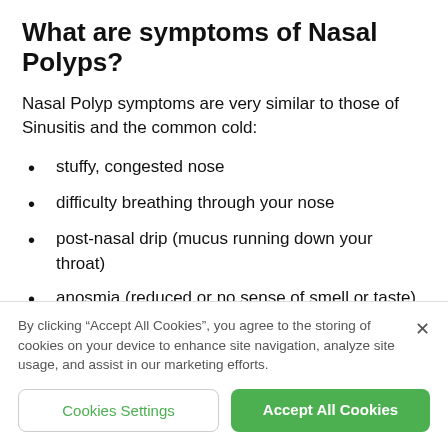What are symptoms of Nasal Polyps?
Nasal Polyp symptoms are very similar to those of Sinusitis and the common cold:
stuffy, congested nose
difficulty breathing through your nose
post-nasal drip (mucus running down your throat)
anosmia (reduced or no sense of smell or taste)
By clicking “Accept All Cookies”, you agree to the storing of cookies on your device to enhance site navigation, analyze site usage, and assist in our marketing efforts.
Cookies Settings
Accept All Cookies